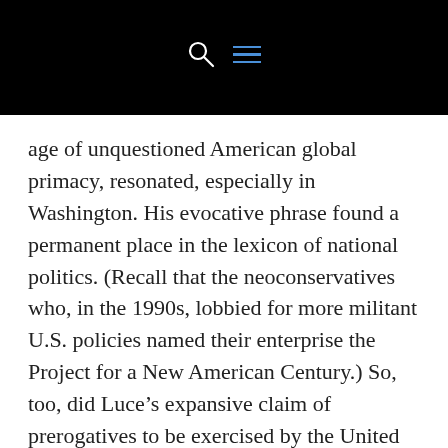[navigation bar with search and menu icons]
age of unquestioned American global primacy, resonated, especially in Washington. His evocative phrase found a permanent place in the lexicon of national politics. (Recall that the neoconservatives who, in the 1990s, lobbied for more militant U.S. policies named their enterprise the Project for a New American Century.) So, too, did Luce’s expansive claim of prerogatives to be exercised by the United States. Even today, whenever public figures allude to America’s responsibility to lead, they signal their fidelity to this creed. Along with respectful allusions to God and “the troops,” adherence to Luce’s credo has